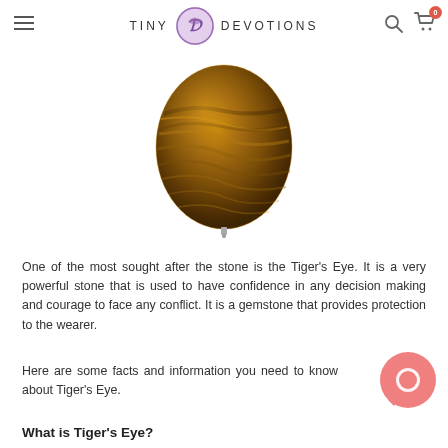TINY DEVOTIONS (logo with navigation icons)
[Figure (photo): A polished oval Tiger's Eye gemstone bead with golden-brown chatoyant bands, with a small metal pin at the bottom.]
One of the most sought after the stone is the Tiger’s Eye. It is a very powerful stone that is used to have confidence in any decision making and courage to face any conflict. It is a gemstone that provides protection to the wearer.
Here are some facts and information you need to know about Tiger’s Eye.
What is Tiger’s Eye?